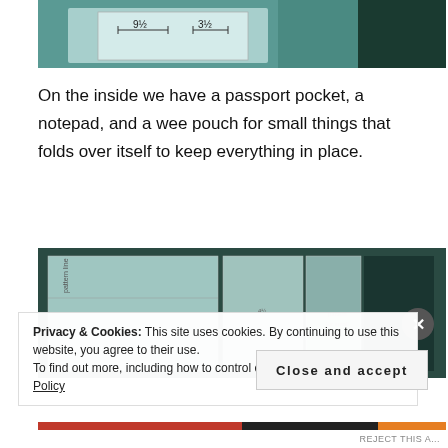[Figure (photo): Top photo showing a paper template/pattern with handwritten measurements '9½' and '3½' on a green cutting mat background]
On the inside we have a passport pocket, a notepad, and a wee pouch for small things that folds over itself to keep everything in place.
[Figure (photo): Bottom photo showing paper pattern pieces/templates laid out on a dark green cutting mat]
Privacy & Cookies: This site uses cookies. By continuing to use this website, you agree to their use.
To find out more, including how to control cookies, see here: Cookie Policy
Close and accept
REJECT THIS A...